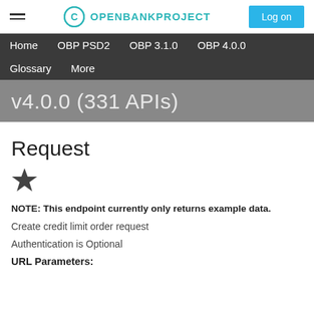OPENBANKPROJECT — Log on
Home  OBP PSD2  OBP 3.1.0  OBP 4.0.0  Glossary  More
v4.0.0 (331 APIs)
Request
[Figure (illustration): Star icon (favorites/bookmark indicator)]
NOTE: This endpoint currently only returns example data.
Create credit limit order request
Authentication is Optional
URL Parameters: